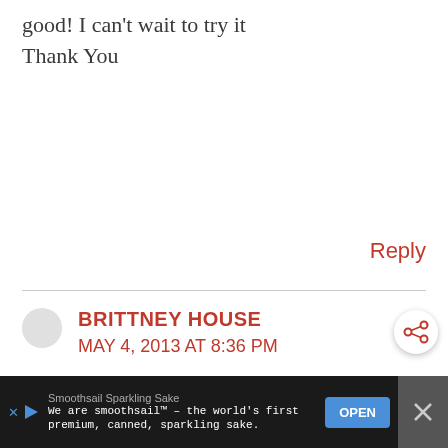good! I can't wait to try it
Thank You
Reply
BRITTNEY HOUSE
MAY 4, 2013 AT 8:36 PM
Wholly Guacamole Classic
Reply
Smoothsail Sparkling Sake
We are smoothsail™ – the world's first
pemium, canned, sparkling sake.
OPEN